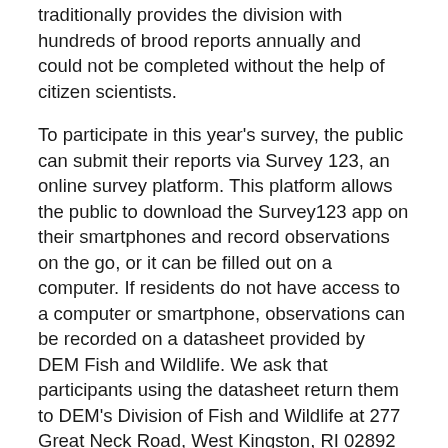traditionally provides the division with hundreds of brood reports annually and could not be completed without the help of citizen scientists.
To participate in this year's survey, the public can submit their reports via Survey 123, an online survey platform. This platform allows the public to download the Survey123 app on their smartphones and record observations on the go, or it can be filled out on a computer. If residents do not have access to a computer or smartphone, observations can be recorded on a datasheet provided by DEM Fish and Wildlife. We ask that participants using the datasheet return them to DEM's Division of Fish and Wildlife at 277 Great Neck Road, West Kingston, RI 02892 by Sept. 15.
To report observations via Survey 123, please use the following link on your smartphone (you will need to download the survey123 app prior to opening the link) or computer at arcg.is/0r48a50.
For more information on the Wild Turkey Brood Survey